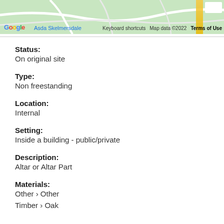[Figure (map): Google Maps snippet showing Asda Skelmersdale area with road network, Google logo, keyboard shortcuts, map data copyright 2022, and Terms of Use attribution]
Status:
On original site
Type:
Non freestanding
Location:
Internal
Setting:
Inside a building - public/private
Description:
Altar or Altar Part
Materials:
Other > Other
Timber > Oak